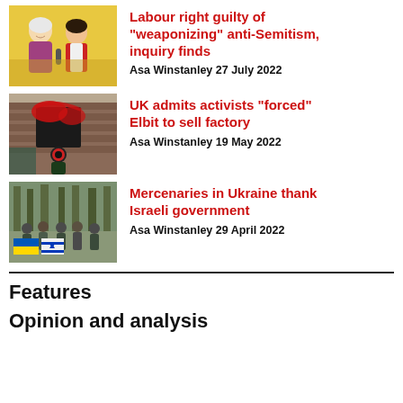[Figure (photo): Two women, one with white hair smiling, one in red jacket, at an event]
Labour right guilty of "weaponizing" anti-Semitism, inquiry finds
Asa Winstanley 27 July 2022
[Figure (photo): A person in dark clothing and red gas mask near a brick building with red paint]
UK admits activists "forced" Elbit to sell factory
Asa Winstanley 19 May 2022
[Figure (photo): Group of soldiers/mercenaries holding Ukrainian and Israeli flags in a forest]
Mercenaries in Ukraine thank Israeli government
Asa Winstanley 29 April 2022
Features
Opinion and analysis